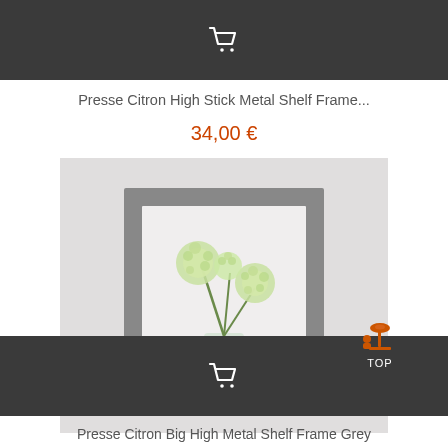[Figure (other): Dark grey top navigation bar with white shopping cart icon centered]
Presse Citron High Stick Metal Shelf Frame...
34,00 €
[Figure (photo): Grey rectangular metal shelf frame box with white flowers (Queen Anne's Lace) in a glass vase inside, displayed against a light grey/white background]
[Figure (other): Dark grey bottom navigation bar with white shopping cart icon centered and orange desk lamp TOP button on the right]
Presse Citron Big High Metal Shelf Frame Grey